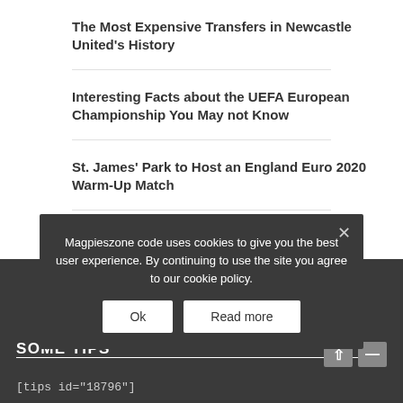The Most Expensive Transfers in Newcastle United's History
Interesting Facts about the UEFA European Championship You May not Know
St. James' Park to Host an England Euro 2020 Warm-Up Match
Who Are Newcastle United's Five Biggest Rivals?
SOME TIPS
[tips id="18796"]
Magpieszone code uses cookies to give you the best user experience. By continuing to use the site you agree to our cookie policy.